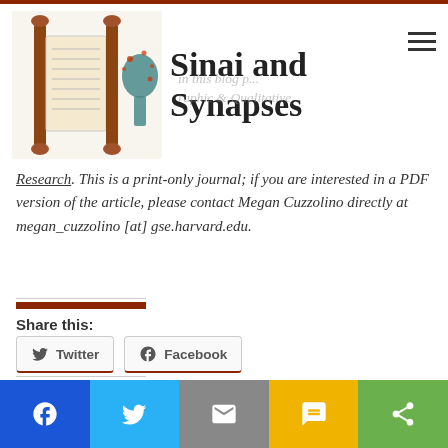Sinai and Synapses
in this blog p... Ethnographic & Qualitative Research. This is a print-only journal; if you are interested in a PDF version of the article, please contact Megan Cuzzolino directly at megan_cuzzolino [at] gse.harvard.edu.
Share this:
Twitter  Facebook
Like this:
Loading...